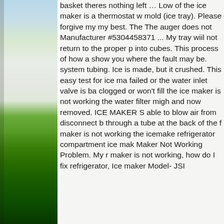[Figure (photo): Left side panel showing a nature/outdoor scene with sky at top transitioning to green grass/field at bottom, partially cropped]
basket theres nothing left … Low of the ice maker is a thermostat w mold (ice tray). Please forgive my my best. The The auger does not Manufacturer #5304458371 ... My tray wiil not return to the proper p into cubes. This process of how a show you where the fault may be. system tubing. Ice is made, but it crushed. This easy test for ice ma failed or the water inlet valve is ba clogged or won't fill the ice maker is not working the water filter migh and now removed. ICE MAKER S able to blow air from disconnect b through a tube at the back of the f maker is not working the icemake refrigerator compartment ice mak Maker Not Working Problem. My r maker is not working, how do I fix refrigerator, Ice maker Model- JSI